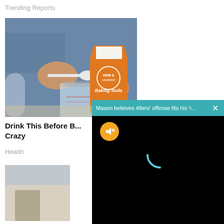Trending Reports
[Figure (photo): Person holding an Arm & Hammer Baking Soda box and spooning powder into a glass mason jar]
Drink This Before B... Crazy
Health
[Figure (screenshot): Video overlay popup with teal bar reading 'Mason believes 49ers offense fits his r...' and an X close button, mute button (orange circle), and loading spinner on black background]
[Figure (photo): Thumbnail of another article image, partially visible at bottom left]